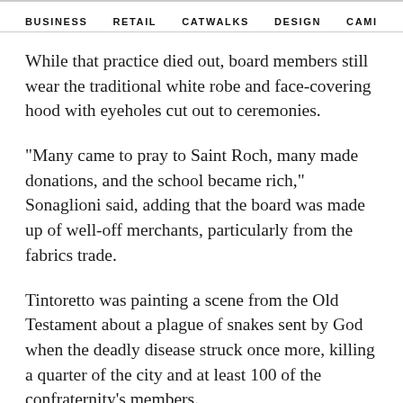BUSINESS   RETAIL   CATWALKS   DESIGN   CAMI >
While that practice died out, board members still wear the traditional white robe and face-covering hood with eyeholes cut out to ceremonies.
"Many came to pray to Saint Roch, many made donations, and the school became rich," Sonaglioni said, adding that the board was made up of well-off merchants, particularly from the fabrics trade.
Tintoretto was painting a scene from the Old Testament about a plague of snakes sent by God when the deadly disease struck once more, killing a quarter of the city and at least 100 of the confraternity's members.